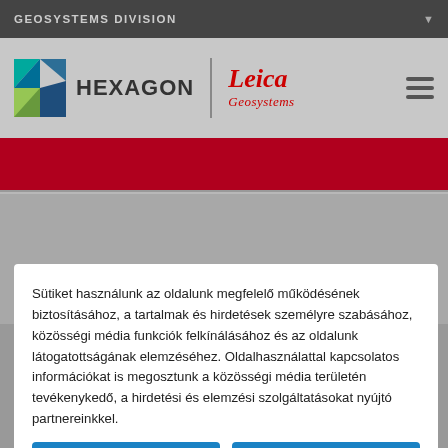GEOSYSTEMS DIVISION
[Figure (logo): Hexagon and Leica Geosystems logos with hamburger menu icon]
[Figure (other): Dark red banner strip]
Sütiket használunk az oldalunk megfelelő működésének biztosításához, a tartalmak és hirdetések személyre szabásához, közösségi média funkciók felkínálásához és az oldalunk látogatottságának elemzéséhez. Oldalhasználattal kapcsolatos információkat is megosztunk a közösségi média területén tevékenykedő, a hirdetési és elemzési szolgáltatásokat nyújtó partnereinkkel.